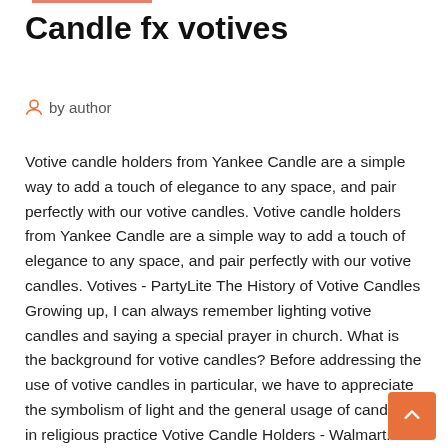Candle fx votives
by author
Votive candle holders from Yankee Candle are a simple way to add a touch of elegance to any space, and pair perfectly with our votive candles. Votive candle holders from Yankee Candle are a simple way to add a touch of elegance to any space, and pair perfectly with our votive candles. Votives - PartyLite The History of Votive Candles Growing up, I can always remember lighting votive candles and saying a special prayer in church. What is the background for votive candles? Before addressing the use of votive candles in particular, we have to appreciate the symbolism of light and the general usage of candles in religious practice Votive Candle Holders - Walmart.com Shop for Votive Candle Holders at Walmart.com. Save money. Live better. Baccarat Rouge 540 Scented Candle_Baccarat 540 Candle The Baccarat Heritage Rouge candle features a beautifully cut Baccarat candle container